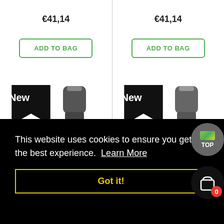€41,14
ADD TO BAG
€41,14
ADD TO BAG
[Figure (photo): Vape/e-cigarette mod device with floral white pattern skin, 'New' badge top-left]
[Figure (photo): Vape/e-cigarette mod device with gold glitter pattern skin, 'New' badge top-left]
This website uses cookies to ensure you get the best experience.  Learn More
Got it!